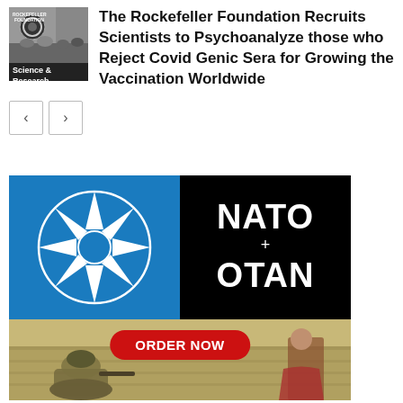[Figure (photo): Thumbnail image showing Rockefeller Foundation logo and people, with 'Science & Research' label overlay]
The Rockefeller Foundation Recruits Scientists to Psychoanalyze those who Reject Covid Genic Sera for Growing the Vaccination Worldwide
[Figure (logo): NATO/OTAN logo advertisement with compass star on blue background, NATO and OTAN text on black background, ORDER NOW red button, and soldiers photo at bottom]